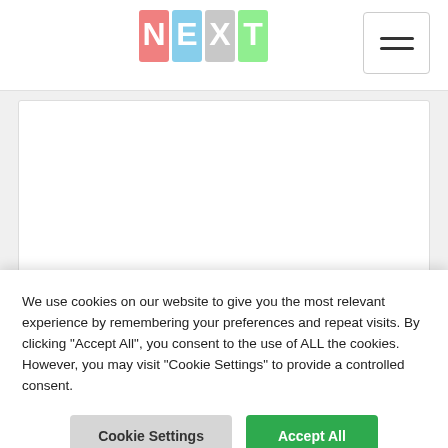[Figure (logo): NEXT logo with colored letter tiles (N=pink, E=blue, X=grey, T=yellow/green) on a white background]
success.
We use cookies on our website to give you the most relevant experience by remembering your preferences and repeat visits. By clicking “Accept All”, you consent to the use of ALL the cookies. However, you may visit “Cookie Settings” to provide a controlled consent.
Cookie Settings
Accept All
Vas Panagiotopoulos
Jan 25, 2016 · 5 min read